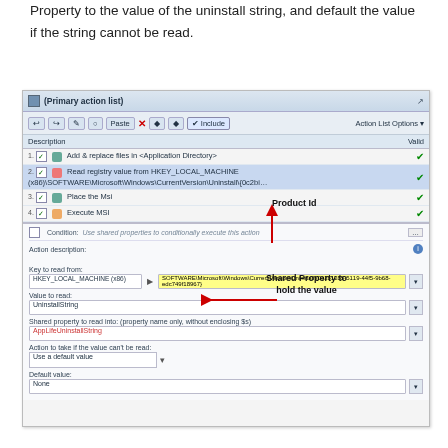Property to the value of the uninstall string, and default the value if the string cannot be read.
[Figure (screenshot): Screenshot of a Windows installer action list dialog showing 4 actions including 'Read registry value from HKEY_LOCAL_MACHINE...' and a lower panel with registry key fields: Key to read from (HKEY_LOCAL_MACHINE x86 > SOFTWARE\Microsoft\Windows\CurrentVersion\Uninstall\{0c2b1285-5119-44f5-9b68-edc749f18967} highlighted in yellow), Value to read (UninstallString), Shared property to read into (AppLifeUninstallString), Action to take if value can't be read (Use a default value dropdown), Default value (None). Red arrows annotate 'Product Id' pointing to the GUID and 'Shared Property to hold the value' pointing to AppLifeUninstallString.]